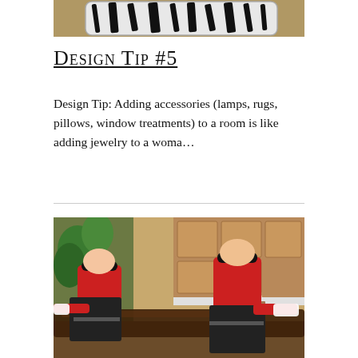[Figure (photo): Close-up photo of a black and white zebra print rug on a wooden floor]
Design Tip #5
Design Tip: Adding accessories (lamps, rugs, pillows, window treatments) to a room is like adding jewelry to a woma…
[Figure (photo): Two men in red shirts and dark caps moving or placing a large dark wooden table top in a kitchen with wood cabinetry]